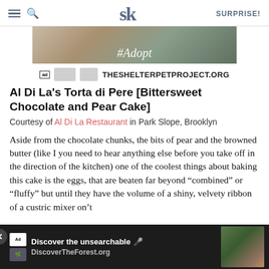SK | SURPRISE!
[Figure (photo): Advertisement banner for TheShelterPetProject.org showing animals with #Adopt text and ad council logos]
Al Di La's Torta di Pere [Bittersweet Chocolate and Pear Cake]
Courtesy of Al Di La Restaurant in Park Slope, Brooklyn
Aside from the chocolate chunks, the bits of pear and the browned butter (like I you need to hear anything else before you take off in the direction of the kitchen) one of the coolest things about baking this cake is the eggs, that are beaten far beyond “combined” or “fluffy” but until they have the volume of a shiny, velvety ribbon of a cus... tric mixer o... on’t
[Figure (screenshot): Bottom overlay ad for DiscoverTheForest.org with forest photo and close button]